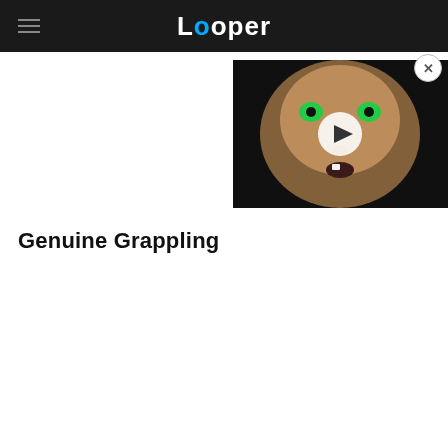Looper
[Figure (screenshot): Video thumbnail showing a man's face with green eyes and an open mouth expression, with a white play button overlay in the center. There is a close (X) button in the top-right corner of the overlay panel.]
Genuine Grappling